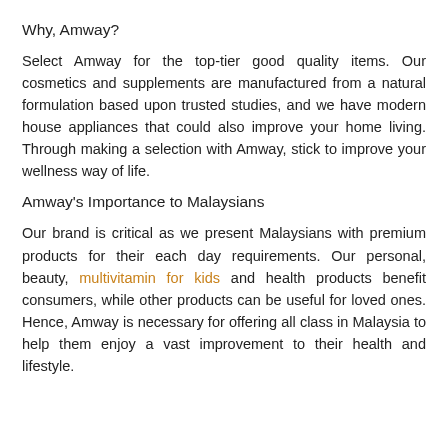Why, Amway?
Select Amway for the top-tier good quality items. Our cosmetics and supplements are manufactured from a natural formulation based upon trusted studies, and we have modern house appliances that could also improve your home living. Through making a selection with Amway, stick to improve your wellness way of life.
Amway's Importance to Malaysians
Our brand is critical as we present Malaysians with premium products for their each day requirements. Our personal, beauty, multivitamin for kids and health products benefit consumers, while other products can be useful for loved ones. Hence, Amway is necessary for offering all class in Malaysia to help them enjoy a vast improvement to their health and lifestyle.